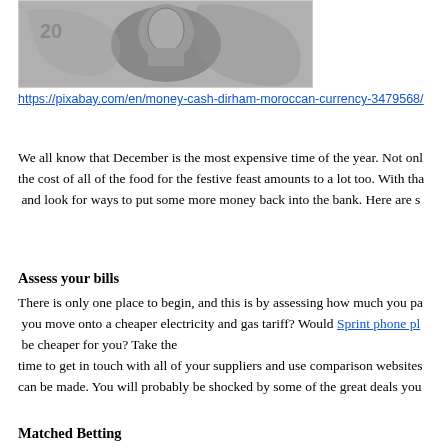[Figure (photo): Close-up black and white photo of Moroccan currency (dirham banknote) showing a portrait]
https://pixabay.com/en/money-cash-dirham-moroccan-currency-3479568/
We all know that December is the most expensive time of the year. Not only the cost of all of the food for the festive feast amounts to a lot too. With that and look for ways to put some more money back into the bank. Here are s
Assess your bills
There is only one place to begin, and this is by assessing how much you pa you move onto a cheaper electricity and gas tariff? Would Sprint phone pl be cheaper for you? Take the time to get in touch with all of your suppliers and use comparison websites can be made. You will probably be shocked by some of the great deals you
Matched Betting